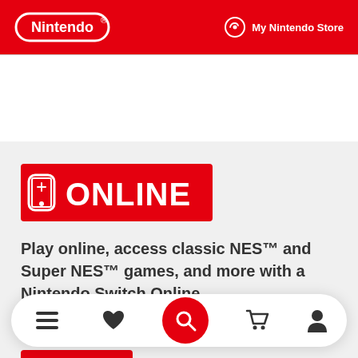Nintendo | My Nintendo Store
[Figure (logo): Nintendo Switch Online logo badge — red rectangle with Switch icon and ONLINE text in white]
Play online, access classic NES™ and Super NES™ games, and more with a Nintendo Switch Online
This game supports: Online Play
[Figure (other): Bottom navigation bar with hamburger menu, heart/wishlist, red search button, cart, and user profile icons]